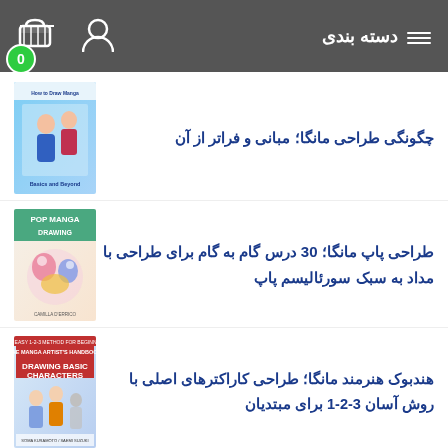دسته بندی
چگونگی طراحی مانگا؛ مبانی و فراتر از آن
[Figure (illustration): Book cover for چگونگی طراحی مانگا؛ مبانی و فراتر از آن]
طراحی پاپ مانگا؛ 30 درس گام به گام برای طراحی با مداد به سبک سورئالیسم پاپ
[Figure (illustration): Book cover for POP MANGA DRAWING]
هندبوک هنرمند مانگا؛ طراحی کاراکترهای اصلی با روش آسان 3-2-1 برای مبتدیان
[Figure (illustration): Book cover for THE MANGA ARTIST'S HANDBOOK: DRAWING BASIC CHARACTERS]
چگونگی طراحی حیوانات جذاب؛